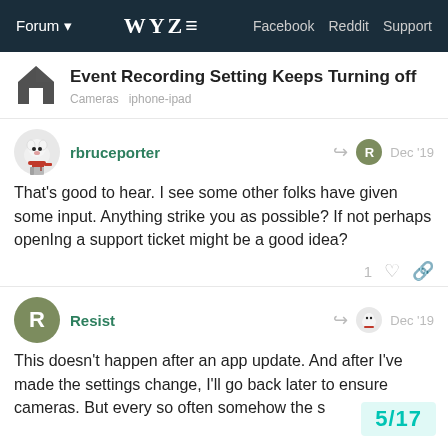Forum  WYZE  Facebook  Reddit  Support
Event Recording Setting Keeps Turning off
Cameras  iphone-ipad
rbruceporter  Dec '19
That's good to hear. I see some other folks have given some input. Anything strike you as possible? If not perhaps openIng a support ticket might be a good idea?
1 (like)
Resist  Dec '19
This doesn't happen after an app update. And after I've made the settings change, I'll go back later to ensure cameras. But every so often somehow the s
5/17